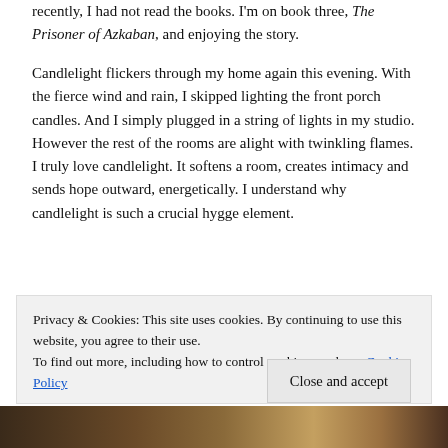recently, I had not read the books. I'm on book three, The Prisoner of Azkaban, and enjoying the story.
Candlelight flickers through my home again this evening. With the fierce wind and rain, I skipped lighting the front porch candles. And I simply plugged in a string of lights in my studio. However the rest of the rooms are alight with twinkling flames. I truly love candlelight. It softens a room, creates intimacy and sends hope outward, energetically. I understand why candlelight is such a crucial hygge element.
Hot drink? Check! Books? Check! Candlelight? Check!
Privacy & Cookies: This site uses cookies. By continuing to use this website, you agree to their use. To find out more, including how to control cookies, see here: Cookie Policy
Close and accept
[Figure (photo): Bottom strip of a photo, dark brown tones, appears to be a cozy scene]